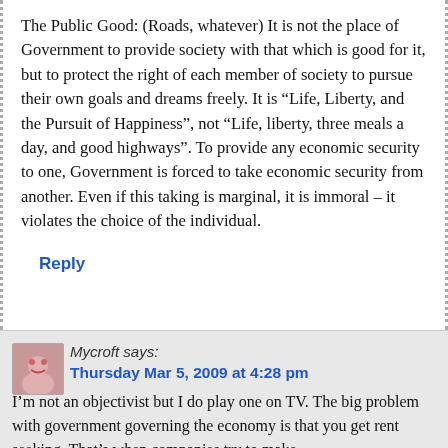The Public Good: (Roads, whatever) It is not the place of Government to provide society with that which is good for it, but to protect the right of each member of society to pursue their own goals and dreams freely. It is “Life, Liberty, and the Pursuit of Happiness”, not “Life, liberty, three meals a day, and good highways”. To provide any economic security to one, Government is forced to take economic security from another. Even if this taking is marginal, it is immoral – it violates the choice of the individual.
Reply
Mycroft says: Thursday Mar 5, 2009 at 4:28 pm
I’m not an objectivist but I do play one on TV. The big problem with government governing the economy is that you get rent seeking. That’s when companies try to make